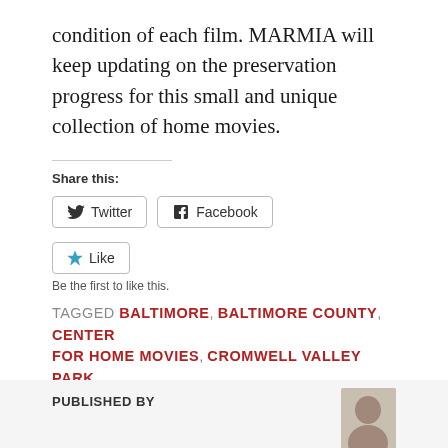condition of each film. MARMIA will keep updating on the preservation progress for this small and unique collection of home movies.
Share this:
[Figure (other): Social share buttons: Twitter and Facebook]
[Figure (other): Like button with star icon]
Be the first to like this.
TAGGED BALTIMORE, BALTIMORE COUNTY, CENTER FOR HOME MOVIES, CROMWELL VALLEY PARK, HOME MOVIE DAY
PUBLISHED BY